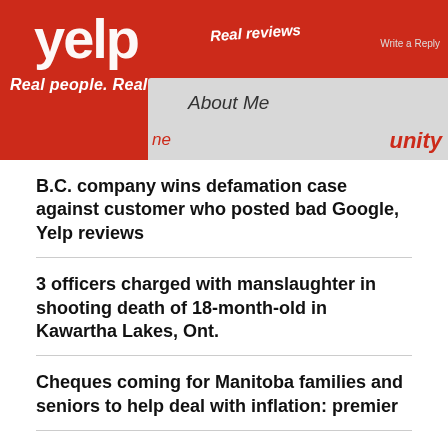[Figure (photo): Close-up photograph of Yelp website interface showing the Yelp logo in white on red background, with tagline 'Real people. Real reviews.' and interface elements including 'About Me', 'Write a Reply', and 'county' text visible]
B.C. company wins defamation case against customer who posted bad Google, Yelp reviews
3 officers charged with manslaughter in shooting death of 18-month-old in Kawartha Lakes, Ont.
Cheques coming for Manitoba families and seniors to help deal with inflation: premier